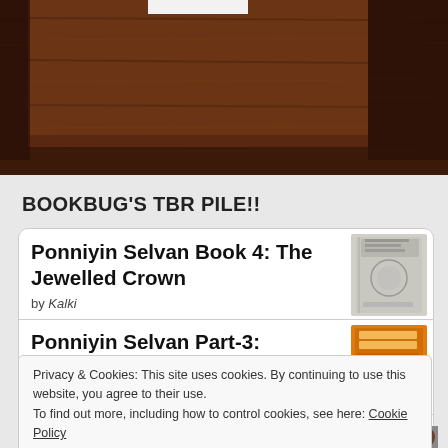[Figure (photo): Dark wood texture banner at the top of the page with a lighter wood-paneled inner section and a small white rectangle at the top center edge]
BOOKBUG'S TBR PILE!!
Ponniyin Selvan Book 4: The Jewelled Crown
by Kalki
[Figure (photo): Book cover of Ponniyin Selvan Book 4: The Jewelled Crown — grey/silver illustrated cover with decorative motifs]
Ponniyin Selvan Part-3: Sword of Slaughter
by Kalki
[Figure (photo): Book cover of Ponniyin Selvan Part-3: Sword of Slaughter — orange cover with text PONNIYIN SELVAN]
Privacy & Cookies: This site uses cookies. By continuing to use this website, you agree to their use.
To find out more, including how to control cookies, see here: Cookie Policy
Close and accept
by Kathleen Fuller
[Figure (photo): Small thumbnail book cover at bottom right, partially visible, showing people]